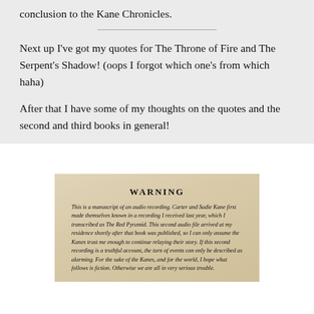conclusion to the Kane Chronicles.
Next up I've got my quotes for The Throne of Fire and The Serpent's Shadow! (oops I forgot which one's from which haha)
After that I have some of my thoughts on the quotes and the second and third books in general!
[Figure (photo): A photo of a book page showing a WARNING section with italic text reading: 'This is a manuscript of an audio recording. Carter and Sadie Kane first made themselves known in a recording I received last year, which I transcribed as The Red Pyramid. This second audio file arrived at my residence shortly after that book was published, so I can only assume the Kanes trust me enough to continue relaying their story. If this second recording is a truthful account, the turn of events can only be described as alarming. For the sake of the Kanes, and for the world, I hope what follows is fiction. Otherwise we are all in very serious trouble.']